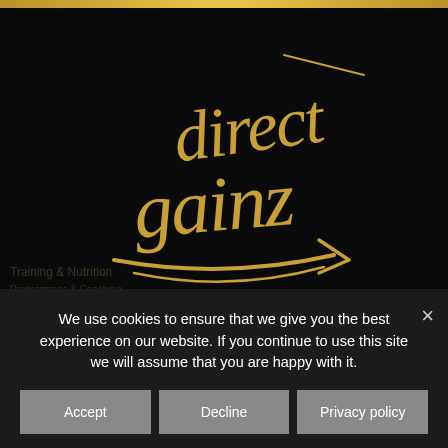[Figure (logo): Direct Gainz logo in gold handwritten/graffiti script on black background, with decorative arrow swoosh beneath the text]
We use cookies to ensure that we give you the best experience on our website. If you continue to use this site we will assume that you are happy with it.
Accept
Decline
Privacy policy